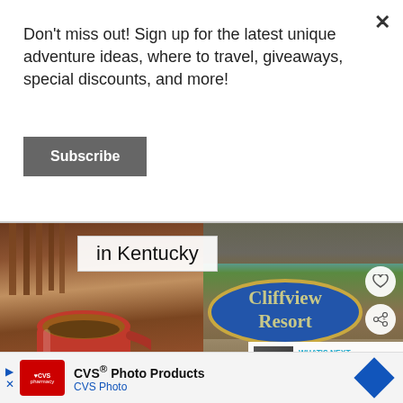Don't miss out! Sign up for the latest unique adventure ideas, where to travel, giveaways, special discounts, and more!
Subscribe
[Figure (photo): Composite travel image showing a red coffee mug on a wooden deck (left) and a Cliffview Resort sign (right) with text overlay 'in Kentucky']
[Figure (infographic): CVS Photo Products advertisement bar at the bottom of the page]